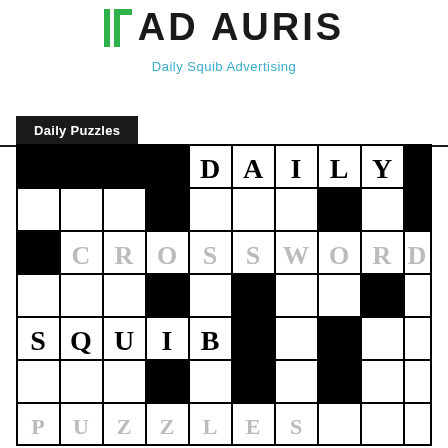AD AURIS
Daily Squib Advertising
Daily Puzzles
[Figure (illustration): Daily Crossword Squib puzzle grid showing a partially filled crossword with the words DAILY across the top row, CROSSWORD in the middle rows, SQUIB in the lower section, and PUZZLES partially visible at the bottom. The grid contains black and white cells in a standard crossword pattern.]